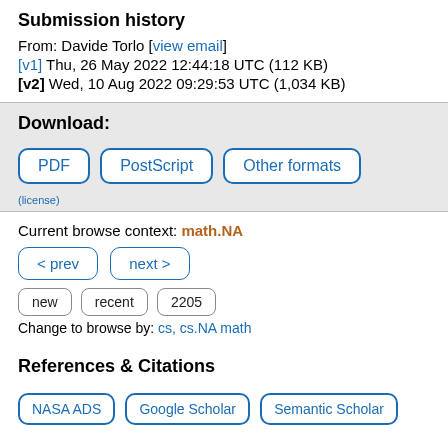Submission history
From: Davide Torlo [view email]
[v1] Thu, 26 May 2022 12:44:18 UTC (112 KB)
[v2] Wed, 10 Aug 2022 09:29:53 UTC (1,034 KB)
Download:
PDF  PostScript  Other formats
(license)
Current browse context: math.NA
< prev   next >
new   recent   2205
Change to browse by: cs, cs.NA math
References & Citations
NASA ADS   Google Scholar   Semantic Scholar